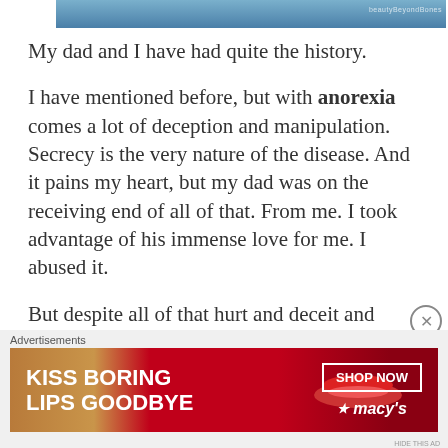[Figure (photo): Partial top image with blue gradient background and watermark text 'beautyBeyondBones']
My dad and I have had quite the history.
I have mentioned before, but with anorexia comes a lot of deception and manipulation. Secrecy is the very nature of the disease. And it pains my heart, but my dad was on the receiving end of all of that. From me. I took advantage of his immense love for me. I abused it.
But despite all of that hurt and deceit and mistreatment – he forgave me. He chose to love
Advertisements
[Figure (photo): Macy's advertisement banner: 'KISS BORING LIPS GOODBYE' with red lipstick image and 'SHOP NOW' button with Macy's logo]